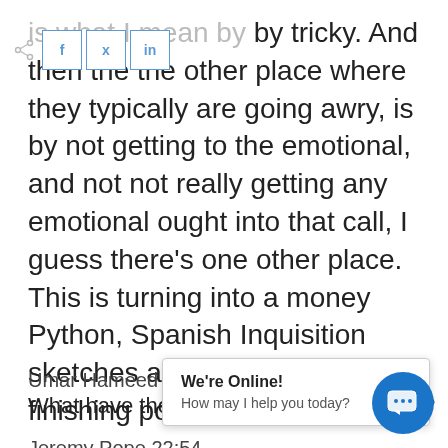is what I mean by by tricky. And then the the other place where they typically are going awry, is by not getting to the emotional, and not not really getting any emotional ought into that call, I guess there's one other place. This is turning into a money Python, Spanish Inquisition sketches and for, forming finishing position but...
Umar Hameed 22:52
What have the Romans ever done for us?
Jeremy Pope 22:54
Exactly. So aside from all that, la emotional horsep but